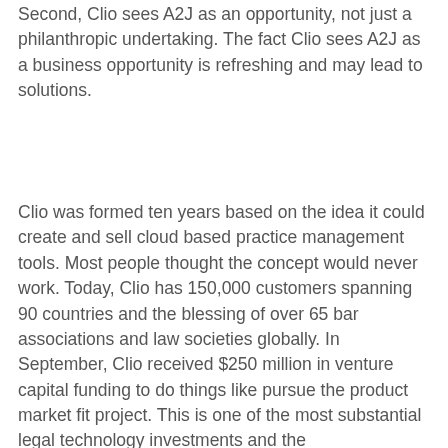Second, Clio sees A2J as an opportunity, not just a philanthropic undertaking. The fact Clio sees A2J as a business opportunity is refreshing and may lead to solutions.
Clio was formed ten years based on the idea it could create and sell cloud based practice management tools. Most people thought the concept would never work. Today, Clio has 150,000 customers spanning 90 countries and the blessing of over 65 bar associations and law societies globally. In September, Clio received $250 million in venture capital funding to do things like pursue the product market fit project. This is one of the most substantial legal technology investments and the